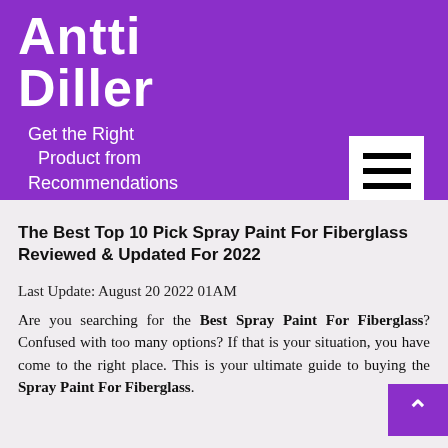Antti Diller
Get the Right Product from Recommendations
The Best Top 10 Pick Spray Paint For Fiberglass Reviewed & Updated For 2022
Last Update: August 20 2022 01AM
Are you searching for the Best Spray Paint For Fiberglass? Confused with too many options? If that is your situation, you have come to the right place. This is your ultimate guide to buying the Spray Paint For Fiberglass.